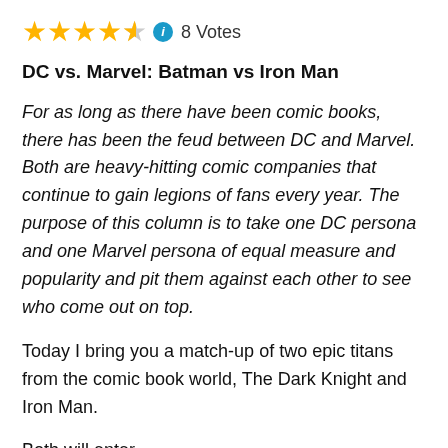[Figure (other): Star rating: 4 full stars, 1 half star, info icon, 8 Votes]
DC vs. Marvel: Batman vs Iron Man
For as long as there have been comic books, there has been the feud between DC and Marvel. Both are heavy-hitting comic companies that continue to gain legions of fans every year. The purpose of this column is to take one DC persona and one Marvel persona of equal measure and popularity and pit them against each other to see who come out on top.
Today I bring you a match-up of two epic titans from the comic book world, The Dark Knight and Iron Man.
Both will enter.
One will win.